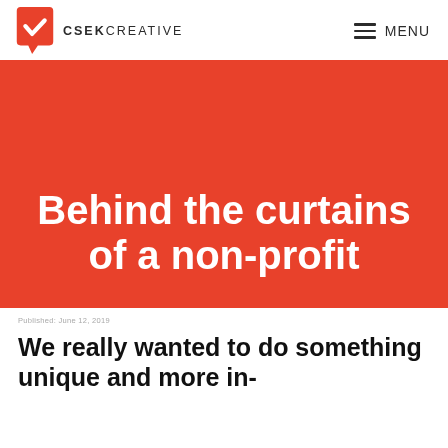[Figure (logo): CSEK Creative logo: red speech bubble with white checkmark, followed by text CSEK CREATIVE in uppercase sans-serif]
MENU
Behind the curtains of a non-profit
Published: June 12, 2018
We really wanted to do something unique and more in-